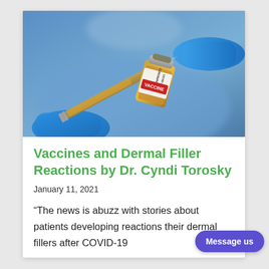[Figure (photo): A healthcare worker in blue surgical gloves and scrubs holding a syringe next to a small vial labeled 'CORONAVIRUS COVID-19 VACCINE']
Vaccines and Dermal Filler Reactions by Dr. Cyndi Torosky
January 11, 2021
“The news is abuzz with stories about patients developing reactions their dermal fillers after COVID-19